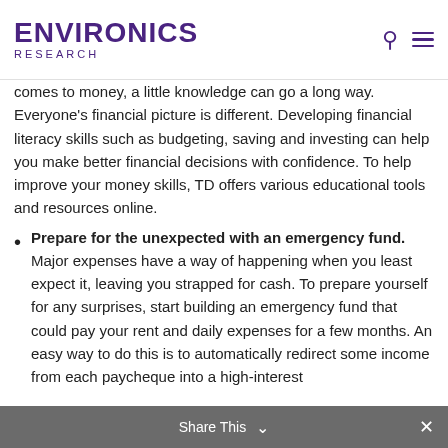ENVIRONICS RESEARCH
comes to money, a little knowledge can go a long way. Everyone's financial picture is different. Developing financial literacy skills such as budgeting, saving and investing can help you make better financial decisions with confidence. To help improve your money skills, TD offers various educational tools and resources online.
Prepare for the unexpected with an emergency fund. Major expenses have a way of happening when you least expect it, leaving you strapped for cash. To prepare yourself for any surprises, start building an emergency fund that could pay your rent and daily expenses for a few months. An easy way to do this is to automatically redirect some income from each paycheque into a high-interest
Share This